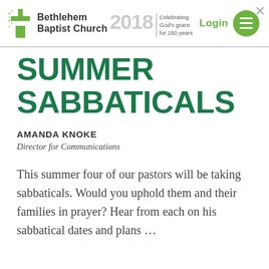Bethlehem Baptist Church — Celebrating God's grace for 150 years — 2018 — Login
SUMMER SABBATICALS
AMANDA KNOKE
Director for Communications
This summer four of our pastors will be taking sabbaticals. Would you uphold them and their families in prayer? Hear from each on his sabbatical dates and plans …